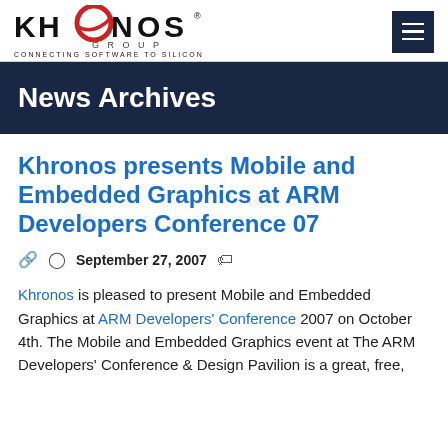Khronos Group — CONNECTING SOFTWARE TO SILICON
News Archives
Khronos presents Mobile and Embedded Graphics at ARM Developers Conference 07
September 27, 2007
Khronos is pleased to present Mobile and Embedded Graphics at ARM Developers' Conference 2007 on October 4th. The Mobile and Embedded Graphics event at The ARM Developers' Conference & Design Pavilion is a great, free,